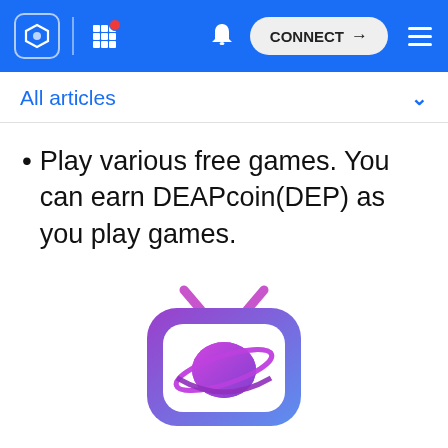CONNECT
All articles
Play various free games. You can earn DEAPcoin(DEP) as you play games.
[Figure (logo): PlayMining / DEAPcoin TV-shaped logo with planet icon, purple-to-blue gradient]